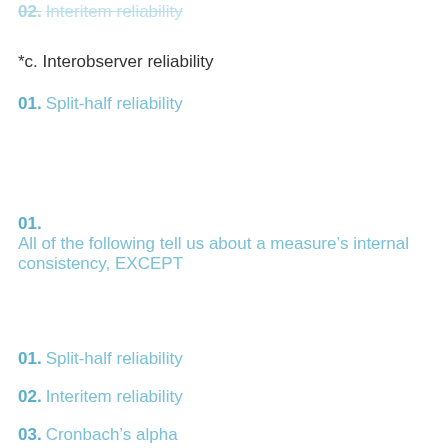02. Interitem reliability
*c. Interobserver reliability
01. Split-half reliability
01. All of the following tell us about a measure’s internal consistency, EXCEPT
01. Split-half reliability
02. Interitem reliability
03. Cronbach’s alpha